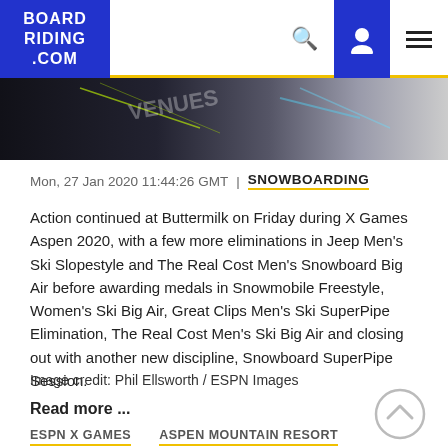BOARD RIDING .COM
[Figure (photo): Partial view of a snowboard or ski equipment, dark background with light streaks]
Mon, 27 Jan 2020 11:44:26 GMT | SNOWBOARDING
Action continued at Buttermilk on Friday during X Games Aspen 2020, with a few more eliminations in Jeep Men’s Ski Slopestyle and The Real Cost Men’s Snowboard Big Air before awarding medals in Snowmobile Freestyle, Women’s Ski Big Air, Great Clips Men’s Ski SuperPipe Elimination, The Real Cost Men’s Ski Big Air and closing out with another new discipline, Snowboard SuperPipe Session.
Image credit: Phil Ellsworth / ESPN Images
Read more ...
ESPN X GAMES
ASPEN MOUNTAIN RESORT